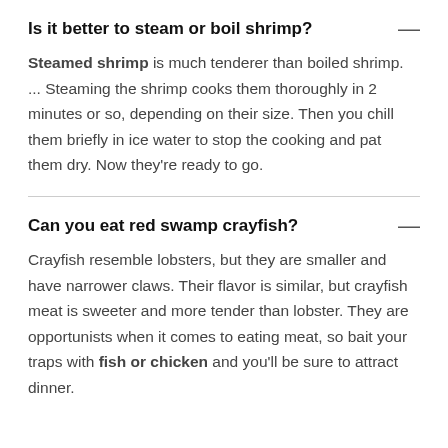Is it better to steam or boil shrimp?
Steamed shrimp is much tenderer than boiled shrimp. ... Steaming the shrimp cooks them thoroughly in 2 minutes or so, depending on their size. Then you chill them briefly in ice water to stop the cooking and pat them dry. Now they're ready to go.
Can you eat red swamp crayfish?
Crayfish resemble lobsters, but they are smaller and have narrower claws. Their flavor is similar, but crayfish meat is sweeter and more tender than lobster. They are opportunists when it comes to eating meat, so bait your traps with fish or chicken and you'll be sure to attract dinner.